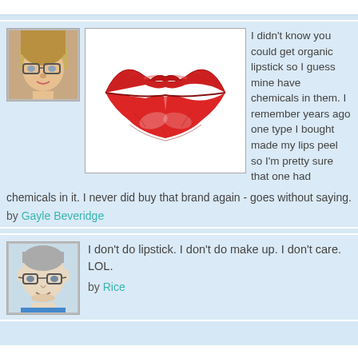[Figure (photo): Profile avatar of a woman with glasses and blonde hair]
[Figure (illustration): Red lipstick lips kiss mark illustration on white background]
I didn't know you could get organic lipstick so I guess mine have chemicals in them. I remember years ago one type I bought made my lips peel so I'm pretty sure that one had chemicals in it. I never did buy that brand again - goes without saying.
by Gayle Beveridge
[Figure (illustration): Profile avatar of a cartoon man with grey hair and glasses]
I don't do lipstick. I don't do make up. I don't care. LOL.
by Rice